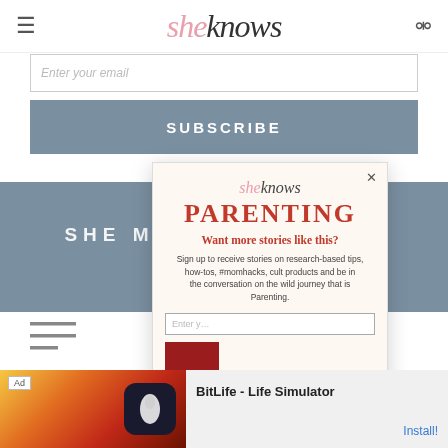sheknows
Enter your email
SUBSCRIBE
SHE MEDIA MASTER
[Figure (screenshot): Modal popup overlay for SheKnows Parenting newsletter signup]
[Figure (infographic): Ad banner for BitLife - Life Simulator app with colorful background and BitLife logo]